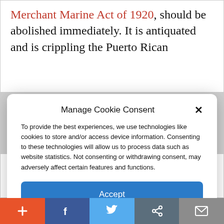Merchant Marine Act of 1920, should be abolished immediately. It is antiquated and is crippling the Puerto Rican
Manage Cookie Consent
To provide the best experiences, we use technologies like cookies to store and/or access device information. Consenting to these technologies will allow us to process data such as website statistics. Not consenting or withdrawing consent, may adversely affect certain features and functions.
Accept
Cookie Policy  Privacy Policy
another, and every ship must be constructed, filled, and owned by